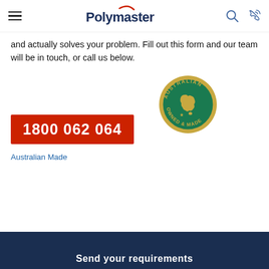Polymaster
and actually solves your problem. Fill out this form and our team will be in touch, or call us below.
1800 062 064
[Figure (logo): Australian Owned & Made circular badge with green background, gold text and gold Australia map outline]
Australian Made
Send your requirements